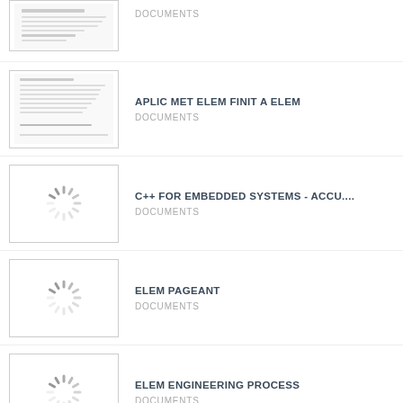[Figure (screenshot): Partial thumbnail of a document at the top of the list]
DOCUMENTS
[Figure (screenshot): Thumbnail showing a document page with a line at bottom]
APLIC MET ELEM FINIT A ELEM
DOCUMENTS
[Figure (other): Loading spinner icon]
C++ FOR EMBEDDED SYSTEMS - ACCU....
DOCUMENTS
[Figure (other): Loading spinner icon]
ELEM PAGEANT
DOCUMENTS
[Figure (other): Loading spinner icon]
ELEM ENGINEERING PROCESS
DOCUMENTS
[Figure (screenshot): Partial thumbnail at the bottom of the list]
TASTING NOTE TEMPLATE COPY ELEM...